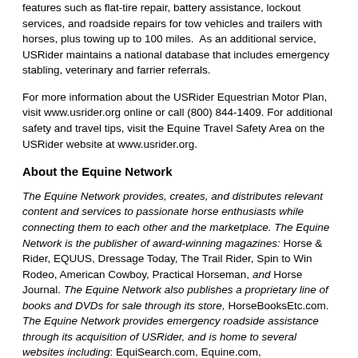features such as flat-tire repair, battery assistance, lockout services, and roadside repairs for tow vehicles and trailers with horses, plus towing up to 100 miles.  As an additional service, USRider maintains a national database that includes emergency stabling, veterinary and farrier referrals.
For more information about the USRider Equestrian Motor Plan, visit www.usrider.org online or call (800) 844-1409. For additional safety and travel tips, visit the Equine Travel Safety Area on the USRider website at www.usrider.org.
About the Equine Network
The Equine Network provides, creates, and distributes relevant content and services to passionate horse enthusiasts while connecting them to each other and the marketplace. The Equine Network is the publisher of award-winning magazines: Horse & Rider, EQUUS, Dressage Today, The Trail Rider, Spin to Win Rodeo, American Cowboy, Practical Horseman, and Horse Journal. The Equine Network also publishes a proprietary line of books and DVDs for sale through its store, HorseBooksEtc.com. The Equine Network provides emergency roadside assistance through its acquisition of USRider, and is home to several websites including: EquiSearch.com, Equine.com,